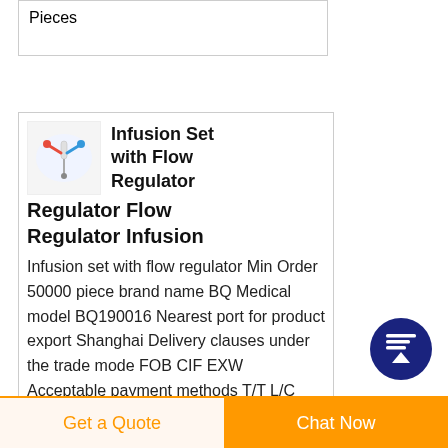Pieces
Infusion Set with Flow Regulator Flow Regulator Infusion
Infusion set with flow regulator Min Order 50000 piece brand name BQ Medical model BQ190016 Nearest port for product export Shanghai Delivery clauses under the trade mode FOB CIF EXW Acceptable payment methods T/T L/C update time Sat 07 Aug 2021 01:12:45 GMT
Get a Quote
Chat Now